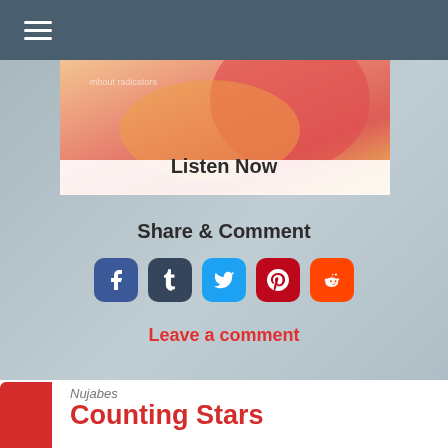Navigation menu
[Figure (photo): Album artwork with warm orange, red, and yellow colors]
Listen Now
Share & Comment
[Figure (infographic): Social media share icons: Facebook, Tumblr, Twitter, Pinterest, Reddit]
Leave a comment
Nujabes
Counting Stars